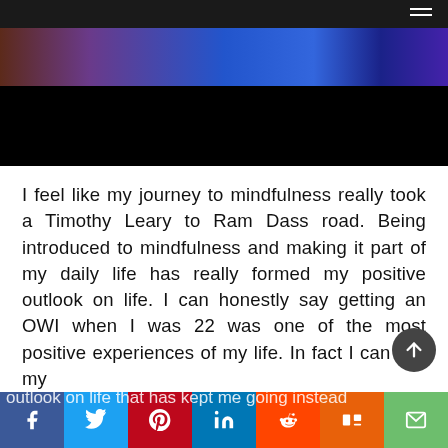[Figure (photo): Top navigation bar with hamburger menu icon, followed by a hero image area: partially visible person in blue/purple tones at top, large black area below.]
I feel like my journey to mindfulness really took a Timothy Leary to Ram Dass road. Being introduced to mindfulness and making it part of my daily life has really formed my positive outlook on life. I can honestly say getting an OWI when I was 22 was one of the most positive experiences of my life. In fact I can say my outlook on life that has kept me going instead of giving up has really stemmed from that.
[Figure (infographic): Social media share bar with icons for Facebook, Twitter, Pinterest, LinkedIn, Reddit, Mix, and Email.]